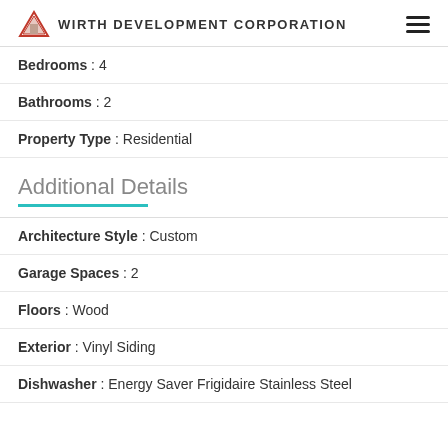WIRTH DEVELOPMENT CORPORATION
Bedrooms : 4
Bathrooms : 2
Property Type : Residential
Additional Details
Architecture Style : Custom
Garage Spaces : 2
Floors : Wood
Exterior : Vinyl Siding
Dishwasher : Energy Saver Frigidaire Stainless Steel